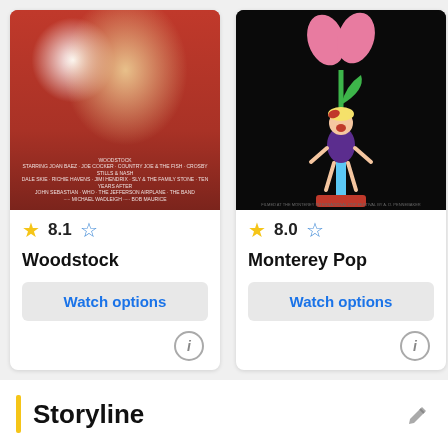[Figure (screenshot): Movie card for 'Woodstock' with a red movie poster showing a performer, rating 8.1 with filled and outline star icons, title 'Woodstock', and a 'Watch options' button with an info icon.]
[Figure (screenshot): Movie card for 'Monterey Pop' with a black movie poster featuring a cartoon figure on a pole with a flower, rating 8.0 with filled and outline star icons, title 'Monterey Pop', and a 'Watch options' button with an info icon.]
[Figure (screenshot): Partially visible movie card on the right with a black/white poster, rating starting with 7., and title starting with 'Bob' and 'Back' visible, with a navigation arrow.]
Storyline